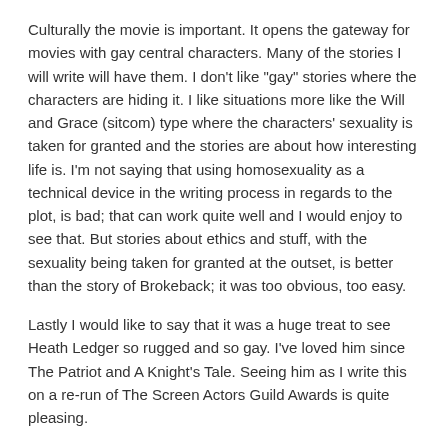Culturally the movie is important. It opens the gateway for movies with gay central characters. Many of the stories I will write will have them. I don't like "gay" stories where the characters are hiding it. I like situations more like the Will and Grace (sitcom) type where the characters' sexuality is taken for granted and the stories are about how interesting life is. I'm not saying that using homosexuality as a technical device in the writing process in regards to the plot, is bad; that can work quite well and I would enjoy to see that. But stories about ethics and stuff, with the sexuality being taken for granted at the outset, is better than the story of Brokeback; it was too obvious, too easy.
Lastly I would like to say that it was a huge treat to see Heath Ledger so rugged and so gay. I've loved him since The Patriot and A Knight's Tale. Seeing him as I write this on a re-run of The Screen Actors Guild Awards is quite pleasing.
Jose Gainza.